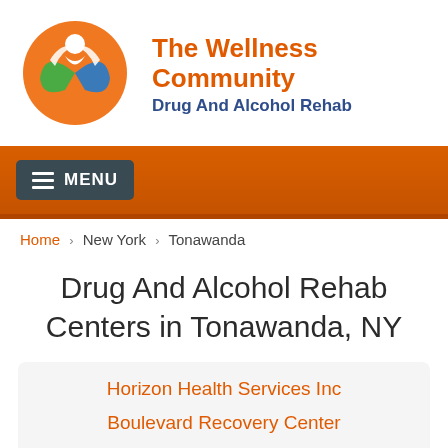[Figure (logo): The Wellness Community logo — circular emblem with green, blue and orange shapes forming a human figure with leaves, above brand name]
The Wellness Community
Drug And Alcohol Rehab
[Figure (screenshot): Orange navigation bar with dark grey MENU button showing hamburger icon]
Home › New York › Tonawanda
Drug And Alcohol Rehab Centers in Tonawanda, NY
Horizon Health Services Inc
Boulevard Recovery Center